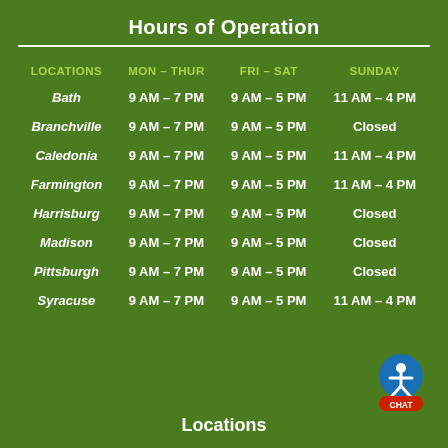Hours of Operation
| LOCATIONS | MON – THUR | FRI – SAT | SUNDAY |
| --- | --- | --- | --- |
| Bath | 9 AM – 7 PM | 9 AM – 5 PM | 11 AM – 4 PM |
| Branchville | 9 AM – 7 PM | 9 AM – 5 PM | Closed |
| Caledonia | 9 AM – 7 PM | 9 AM – 5 PM | 11 AM – 4 PM |
| Farmington | 9 AM – 7 PM | 9 AM – 5 PM | 11 AM – 4 PM |
| Harrisburg | 9 AM – 7 PM | 9 AM – 5 PM | Closed |
| Madison | 9 AM – 7 PM | 9 AM – 5 PM | Closed |
| Pittsburgh | 9 AM – 7 PM | 9 AM – 5 PM | Closed |
| Syracuse | 9 AM – 7 PM | 9 AM – 5 PM | 11 AM – 4 PM |
Locations